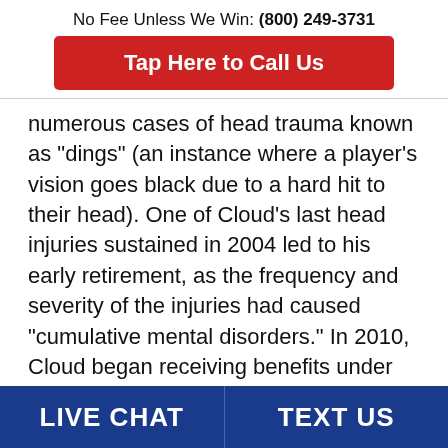No Fee Unless We Win: (800) 249-3731
[Figure (other): Red button: Tap Here to Call Us]
numerous cases of head trauma known as “dings” (an instance where a player’s vision goes black due to a hard hit to their head). One of Cloud’s last head injuries sustained in 2004 led to his early retirement, as the frequency and severity of the injuries had caused “cumulative mental disorders.” In 2010, Cloud began receiving benefits under the retirement Plan, and was found to be “totally and permanently” disabled in 2014. Subsequently, in 2016 Cloud applied for reclassification
LIVE CHAT   TEXT US